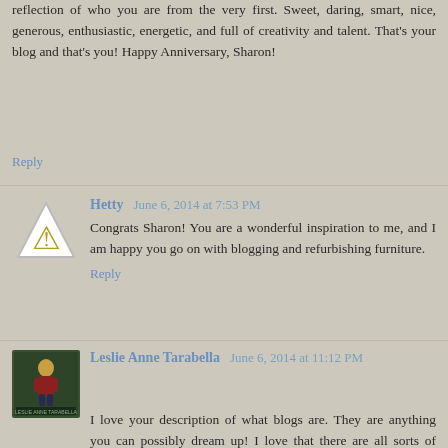reflection of who you are from the very first. Sweet, daring, smart, nice, generous, enthusiastic, energetic, and full of creativity and talent. That's your blog and that's you! Happy Anniversary, Sharon!
Reply
Hetty  June 6, 2014 at 7:53 PM
Congrats Sharon! You are a wonderful inspiration to me, and I am happy you go on with blogging and refurbishing furniture.
Reply
Leslie Anne Tarabella  June 6, 2014 at 11:12 PM
I love your description of what blogs are. They are anything you can possibly dream up! I love that there are all sorts of blogs in all shapes and sizes. Four years is a big deal.

Congratulations!
Reply